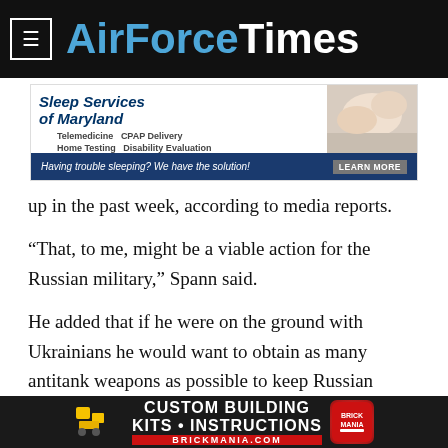AirForceTimes
[Figure (infographic): Sleep Services of Maryland advertisement banner. Shows 'Sleep Services of Maryland' with Telemedicine, CPAP Delivery, Home Testing, Disability Evaluation services. Bottom bar reads 'Having trouble sleeping? We have the solution!' with a 'LEARN MORE' button. Photo of person sleeping on right side.]
up in the past week, according to media reports.
“That, to me, might be a viable action for the Russian military,” Spann said.
He added that if he were on the ground with Ukrainians he would want to obtain as many antitank weapons as possible to keep Russian mechanized forces bogged down.
While there hasn’t been much talk publicly yet about improvised
[Figure (infographic): Brickmania advertisement banner. Dark background with text 'CUSTOM BUILDING KITS • INSTRUCTIONS' and 'BRICKMANIA.COM' in red. Red Brickmania logo badge on right. Yellow building pieces visible on left.]